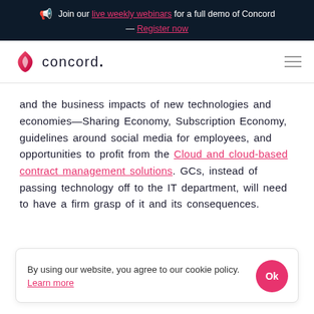Join our live weekly webinars for a full demo of Concord — Register now
[Figure (logo): Concord logo with flame icon and wordmark 'concord.']
and the business impacts of new technologies and economies—Sharing Economy, Subscription Economy, guidelines around social media for employees, and opportunities to profit from the Cloud and cloud-based contract management solutions. GCs, instead of passing technology off to the IT department, will need to have a firm grasp of it and its consequences.
By using our website, you agree to our cookie policy. Learn more